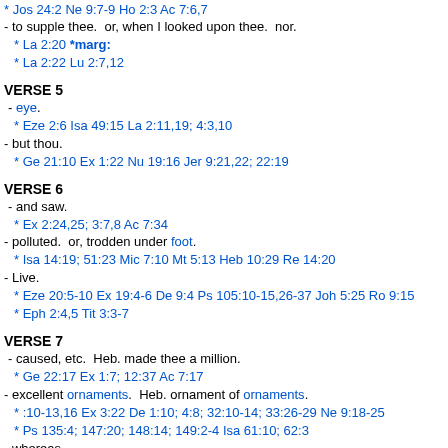* Jos 24:2 Ne 9:7-9 Ho 2:3 Ac 7:6,7
- to supple thee.  or, when I looked upon thee.  nor.
* La 2:20 *marg:
* La 2:22 Lu 2:7,12
VERSE 5
- eye.
* Eze 2:6 Isa 49:15 La 2:11,19; 4:3,10
- but thou.
* Ge 21:10 Ex 1:22 Nu 19:16 Jer 9:21,22; 22:19
VERSE 6
- and saw.
* Ex 2:24,25; 3:7,8 Ac 7:34
- polluted.  or, trodden under foot.
* Isa 14:19; 51:23 Mic 7:10 Mt 5:13 Heb 10:29 Re 14:20
- Live.
* Eze 20:5-10 Ex 19:4-6 De 9:4 Ps 105:10-15,26-37 Joh 5:25 Ro 9:15
* Eph 2:4,5 Tit 3:3-7
VERSE 7
- caused, etc.  Heb. made thee a million.
* Ge 22:17 Ex 1:7; 12:37 Ac 7:17
- excellent ornaments.  Heb. ornament of ornaments.
* :10-13,16 Ex 3:22 De 1:10; 4:8; 32:10-14; 33:26-29 Ne 9:18-25
* Ps 135:4; 147:20; 148:14; 149:2-4 Isa 61:10; 62:3
- whereas.